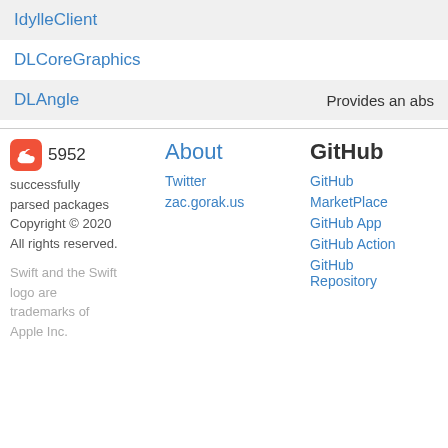IdylleClient
DLCoreGraphics
DLAngle   Provides an abs
[Figure (logo): Swift orange logo icon]
5952
successfully parsed packages
Copyright © 2020
All rights reserved.
Swift and the Swift logo are trademarks of Apple Inc.
About
Twitter
zac.gorak.us
GitHub
GitHub
MarketPlace
GitHub App
GitHub Action
GitHub Repository